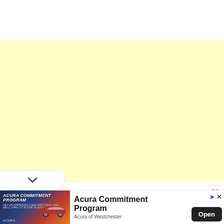[Figure (screenshot): White top area of a webpage]
[Figure (screenshot): Large pale yellow advertisement placeholder area with a red X close button in the bottom-right corner]
[Figure (screenshot): White chevron/collapse button at the bottom-left of the yellow area]
[Figure (screenshot): Acura Commitment Program advertisement banner at the bottom. Left side shows an Acura SUV on a sunset background with bold italic text 'ACURA COMMITMENT PROGRAM'. Right side has headline 'Acura Commitment Program', subtext 'Acura of Westchester', and a black 'Open' button. Top-right has a blue arrow AdChoices icon and an X close button.]